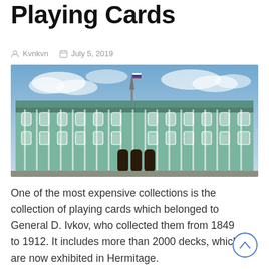Playing Cards
Kvnkvn   July 5, 2019
[Figure (photo): Photograph of the Hermitage Museum (Winter Palace) in Saint Petersburg, Russia — a large ornate green and white baroque building with multiple columns, arched windows, and a Russian flag on the roof spire.]
One of the most expensive collections is the collection of playing cards which belonged to General D. Ivkov, who collected them from 1849 to 1912. It includes more than 2000 decks, which are now exhibited in Hermitage.